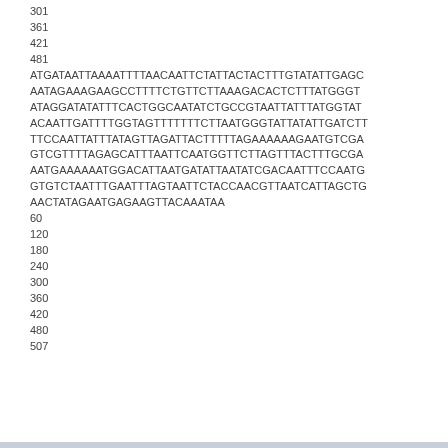301
361
421
481
ATGATAATTAAAATTTTAACAATTCTATTACTACTTTGTATATTGAGC
AATAGAAAGAAGCCTTTTCTGTTCTTAAAGACACTCTTTATGGGT
ATAGGATATATTTCACTGGCAATATCTGCCGTAATTATTTATGGTAT
ACAAITGATTTTGGTAGTTTTTTCTTAATGGGTATTATATTGATCTT
TTCCAATTATTTATAGTTAGATTACTTTTTAGAAAAAGAATGTCGA
GTCGTTTTAGAGCATTTAATTCAATGGTTCTTAGTTTACTTTGCGA
AATGAAAAARTGGACATTAATGATATTAATATCGACAATTTCCAATG
GTGTCTAATTTGAATTTAGTAATTCTACCAACGTTAATCATTAGCTG
AACTATAGAATGAGAAGTTACAAANAA
60
120
180
240
300
360
420
480
507